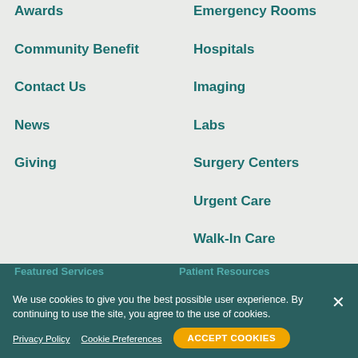Awards
Emergency Rooms
Community Benefit
Hospitals
Contact Us
Imaging
News
Labs
Giving
Surgery Centers
Urgent Care
Walk-In Care
View All >
Featured Services
Patient Resources
We use cookies to give you the best possible user experience. By continuing to use the site, you agree to the use of cookies.
Privacy Policy
Cookie Preferences
ACCEPT COOKIES